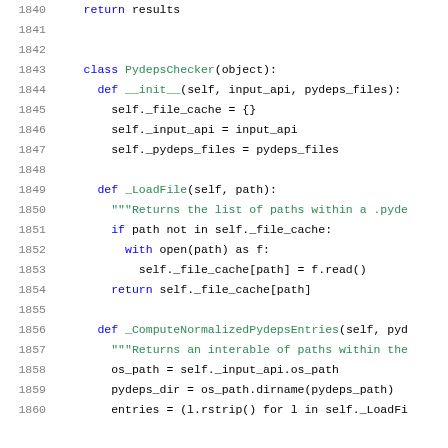1840    return results
1841
1842
1843    class PydepsChecker(object):
1844      def __init__(self, input_api, pydeps_files):
1845        self._file_cache = {}
1846        self._input_api = input_api
1847        self._pydeps_files = pydeps_files
1848
1849      def _LoadFile(self, path):
1850        """Returns the list of paths within a .pyde
1851        if path not in self._file_cache:
1852          with open(path) as f:
1853            self._file_cache[path] = f.read()
1854        return self._file_cache[path]
1855
1856      def _ComputeNormalizedPydepsEntries(self, pyd
1857        """Returns an interable of paths within the
1858        os_path = self._input_api.os_path
1859        pydeps_dir = os_path.dirname(pydeps_path)
1860        entries = (l.rstrip() for l in self._LoadFi